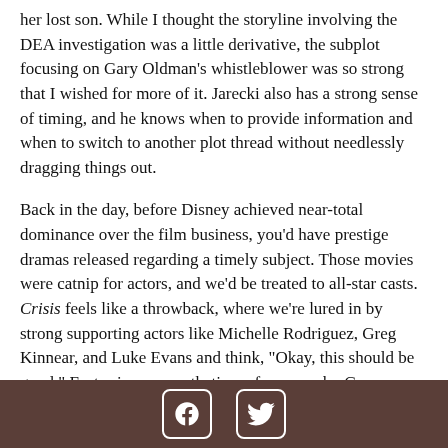her lost son. While I thought the storyline involving the DEA investigation was a little derivative, the subplot focusing on Gary Oldman’s whistleblower was so strong that I wished for more of it. Jarecki also has a strong sense of timing, and he knows when to provide information and when to switch to another plot thread without needlessly dragging things out.
Back in the day, before Disney achieved near-total dominance over the film business, you’d have prestige dramas released regarding a timely subject. Those movies were catnip for actors, and we’d be treated to all-star casts. Crisis feels like a throwback, where we’re lured in by strong supporting actors like Michelle Rodriguez, Greg Kinnear, and Luke Evans and think, “Okay, this should be good.” Factor in a sympathetic performance by Gary Oldman as a flawed man trying to do the right thing, along with Evangeline Lilly’s raw and haunting acting, and you really have something.
The somewhat weak link in the cast is Armie Hammer. It’s bad
[Facebook icon] [Twitter icon]